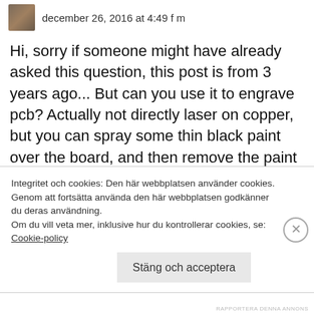december 26, 2016 at 4:49 f m
Hi, sorry if someone might have already asked this question, this post is from 3 years ago... But can you use it to engrave pcb? Actually not directly laser on copper, but you can spray some thin black paint over the board, and then remove the paint using the laser, to etch the board later. Have you ever tried this? Please let me know if it works, I'm really interested in
Integritet och cookies: Den här webbplatsen använder cookies. Genom att fortsätta använda den här webbplatsen godkänner du deras användning.
Om du vill veta mer, inklusive hur du kontrollerar cookies, se:
Cookie-policy
Stäng och acceptera
RAPPORTERA DENNA ANNONS